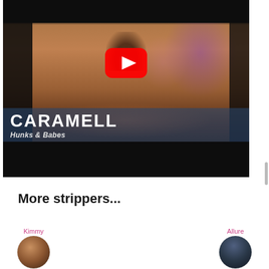[Figure (screenshot): YouTube video thumbnail showing a dark-skinned person's face close-up, wearing a black hood. The video title overlay reads 'CARAMELL' in large white text on a semi-transparent blue background, with subtitle 'Hunks & Babes'. A YouTube play button is centered on the video.]
More strippers...
[Figure (photo): Profile thumbnail of a person named Kimmy (dark-skinned, partial view)]
[Figure (photo): Profile thumbnail of a person named Allure (dark hair, partial view)]